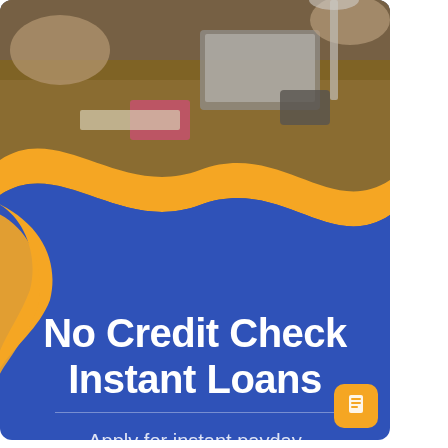[Figure (photo): Office meeting scene with people at a table with laptops and documents, photographed from above]
No Credit Check Instant Loans
Apply for instant payday loans online.